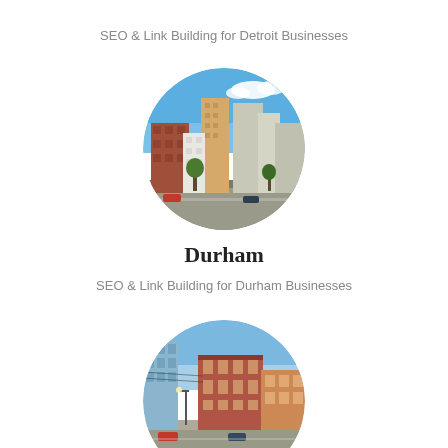SEO & Link Building for Detroit Businesses
[Figure (photo): Circular photo of Durham downtown cityscape with brick buildings and blue sky]
Durham
SEO & Link Building for Durham Businesses
[Figure (photo): Circular photo of another city downtown street with historic buildings and blue sky]